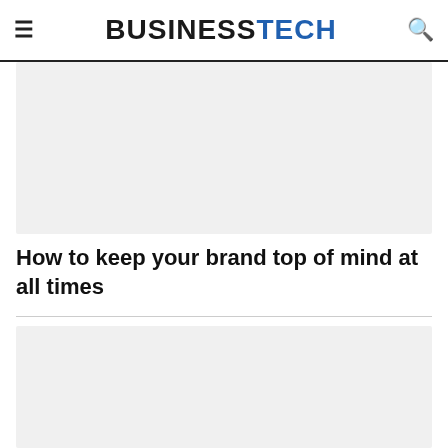BUSINESSTECH
[Figure (other): Advertisement placeholder box (gray rectangle)]
How to keep your brand top of mind at all times
[Figure (other): Advertisement placeholder box (gray rectangle)]